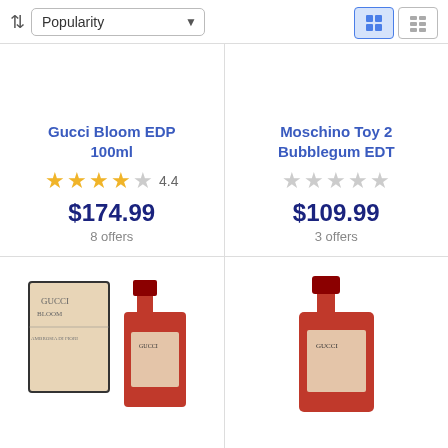Sort by: Popularity
[Figure (screenshot): Product card: Gucci Bloom EDP 100ml, rating 4.4 stars, price $174.99, 8 offers]
[Figure (screenshot): Product card: Moschino Toy 2 Bubblegum EDT, no numeric rating shown, price $109.99, 3 offers]
[Figure (photo): Product image of Gucci Bloom perfume bottle in red with box]
[Figure (photo): Product image of Gucci perfume bottle in red]